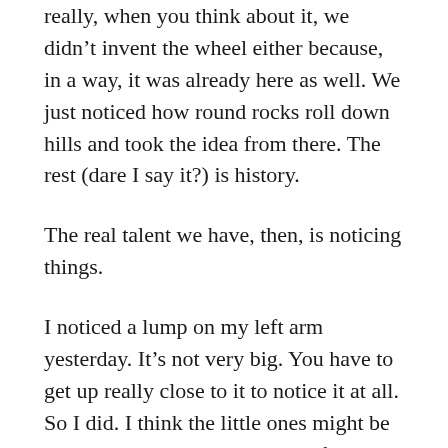really, when you think about it, we didn't invent the wheel either because, in a way, it was already here as well. We just noticed how round rocks roll down hills and took the idea from there. The rest (dare I say it?) is history.
The real talent we have, then, is noticing things.
I noticed a lump on my left arm yesterday. It's not very big. You have to get up really close to it to notice it at all. So I did. I think the little ones might be more deadly than the big ones, for some reason. I spent the rest of the day wondering if I should see the doctor. I decided not to because either she will tell me it's nothing and I will feel like an idiot or she'll tell me that it's terminal